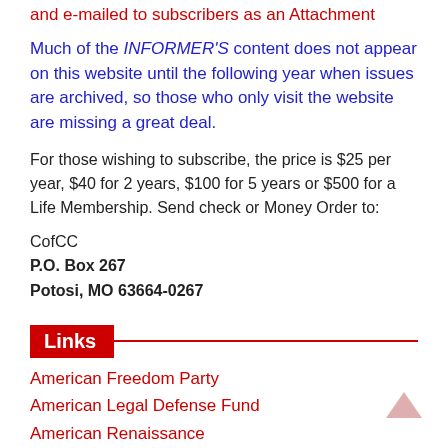and e-mailed to subscribers as an Attachment
Much of the INFORMER'S content does not appear on this website until the following year when issues are archived, so those who only visit the website are missing a great deal.
For those wishing to subscribe, the price is $25 per year, $40 for 2 years, $100 for 5 years or $500 for a Life Membership. Send check or Money Order to:
CofCC
P.O. Box 267
Potosi, MO 63664-0267
Links
American Freedom Party
American Legal Defense Fund
American Renaissance